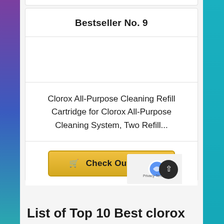Bestseller No. 9
[Figure (photo): Product image placeholder (white/empty area)]
Clorox All-Purpose Cleaning Refill Cartridge for Clorox All-Purpose Cleaning System, Two Refill...
🛒 Check Out Price
List of Top 10 Best clorox